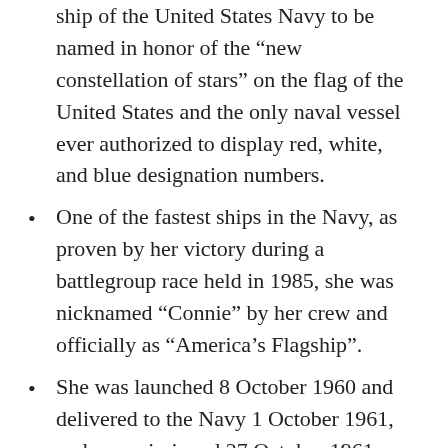ship of the United States Navy to be named in honor of the “new constellation of stars” on the flag of the United States and the only naval vessel ever authorized to display red, white, and blue designation numbers.
One of the fastest ships in the Navy, as proven by her victory during a battlegroup race held in 1985, she was nicknamed “Connie” by her crew and officially as “America’s Flagship”.
She was launched 8 October 1960 and delivered to the Navy 1 October 1961, and commissioned 27 October 1961, with Captain T. J. Walker in command. At that time, she had cost about US$264.5 million. Constellation was the last U.S. carrier...